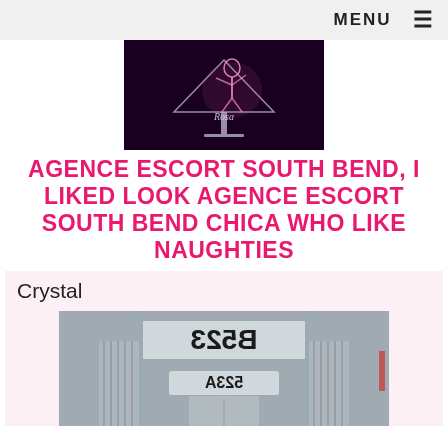MENU ≡
[Figure (logo): Website logo: glowing figure on dark background with stylized text]
AGENCE ESCORT SOUTH BEND, I LIKED LOOK AGENCE ESCORT SOUTH BEND CHICA WHO LIKE NAUGHTIES
Crystal
[Figure (photo): Interior hallway photo with mirrored/repeated number signs reading 'B523' and '523A']